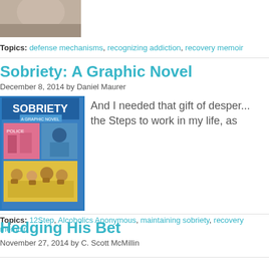[Figure (photo): Partial book cover image at top of page, cropped]
Topics: defense mechanisms, recognizing addiction, recovery memoir
Sobriety: A Graphic Novel
December 8, 2014 by Daniel Maurer
[Figure (illustration): Book cover of 'Sobriety: A Graphic Novel' with blue border showing comic-style scenes with police and group meeting]
And I needed that gift of desper... the Steps to work in my life, as
Topics: 12Step, Alcoholics Anonymous, maintaining sobriety, recovery memoir
Hedging His Bet
November 27, 2014 by C. Scott McMillin